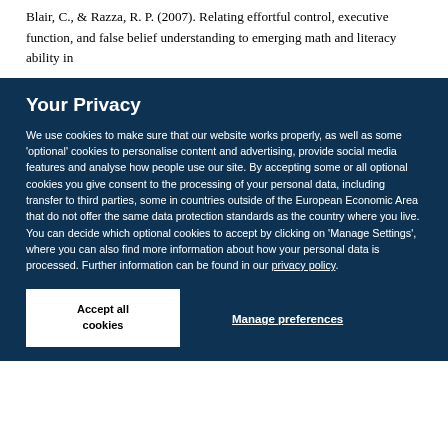Blair, C., & Razza, R. P. (2007). Relating effortful control, executive function, and false belief understanding to emerging math and literacy ability in
Your Privacy
We use cookies to make sure that our website works properly, as well as some 'optional' cookies to personalise content and advertising, provide social media features and analyse how people use our site. By accepting some or all optional cookies you give consent to the processing of your personal data, including transfer to third parties, some in countries outside of the European Economic Area that do not offer the same data protection standards as the country where you live. You can decide which optional cookies to accept by clicking on 'Manage Settings', where you can also find more information about how your personal data is processed. Further information can be found in our privacy policy.
Accept all cookies
Manage preferences